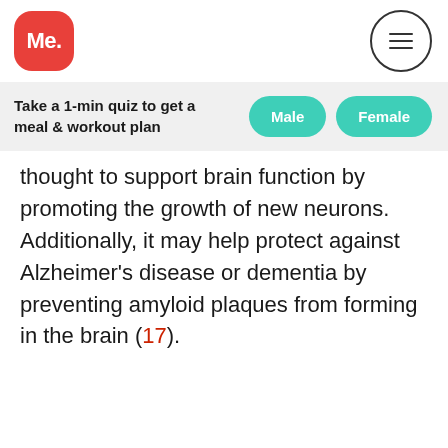[Figure (logo): Red rounded square logo with white text 'Me.']
[Figure (other): Hamburger menu icon inside a circle]
Take a 1-min quiz to get a meal & workout plan
Male
Female
thought to support brain function by promoting the growth of new neurons. Additionally, it may help protect against Alzheimer's disease or dementia by preventing amyloid plaques from forming in the brain (17).